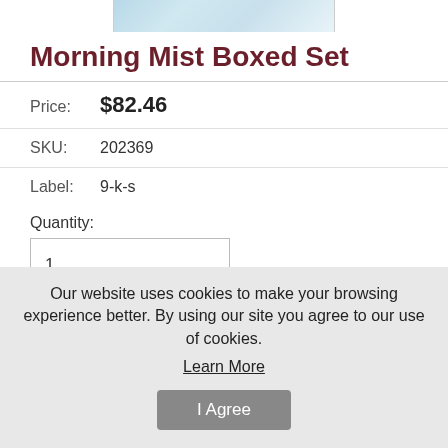[Figure (photo): Partial product image of Morning Mist Boxed Set at the top of the page]
Morning Mist Boxed Set
| Price: | $82.46 |
| SKU: | 202369 |
| Label: | 9-k-s |
Quantity:
1
Add to Cart
Morning Mist Boxed Set.
Provides a great set of printed materials for...
Our website uses cookies to make your browsing experience better. By using our site you agree to our use of cookies.
Learn More
I Agree